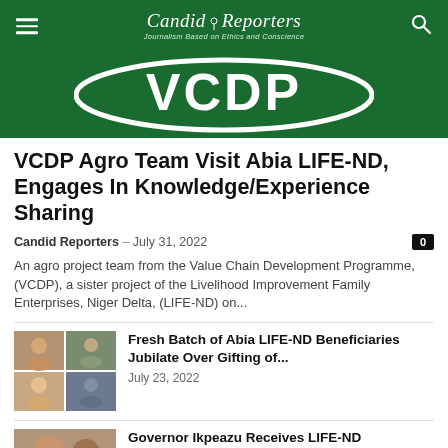Candid Reporters — Journalism Based on Ethics and Conscience
[Figure (logo): VCDP oval logo on dark green background]
VCDP Agro Team Visit Abia LIFE-ND, Engages In Knowledge/Experience Sharing
Candid Reporters – July 31, 2022  0
An agro project team from the Value Chain Development Programme, (VCDP), a sister project of the Livelihood Improvement Family Enterprises, Niger Delta, (LIFE-ND) on...
[Figure (photo): Grid of four photos showing people at an event]
Fresh Batch of Abia LIFE-ND Beneficiaries Jubilate Over Gifting of...
July 23, 2022
[Figure (photo): Two men smiling, one in white shirt]
Governor Ikpeazu Receives LIFE-ND Monitoring Team, Abia Rated Best In Agro...
July 20, 2022